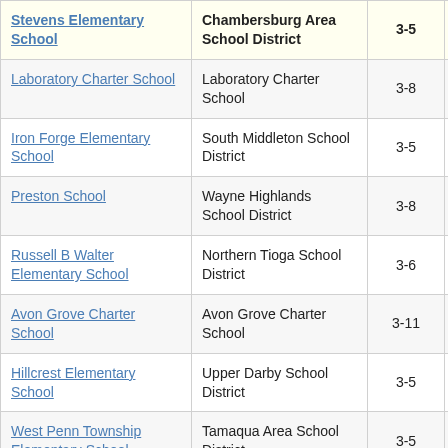| School | District | Grades | Value |
| --- | --- | --- | --- |
| Stevens Elementary School | Chambersburg Area School District | 3-5 | 10. |
| Laboratory Charter School | Laboratory Charter School | 3-8 | 3. |
| Iron Forge Elementary School | South Middleton School District | 3-5 | 3. |
| Preston School | Wayne Highlands School District | 3-8 | 4. |
| Russell B Walter Elementary School | Northern Tioga School District | 3-6 | 3. |
| Avon Grove Charter School | Avon Grove Charter School | 3-11 | 1. |
| Hillcrest Elementary School | Upper Darby School District | 3-5 | 4. |
| West Penn Township Elementary School | Tamaqua Area School District | 3-5 | 5. |